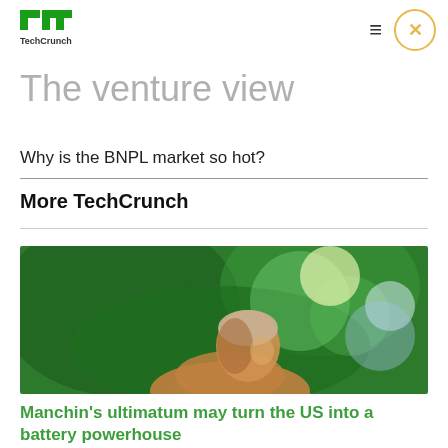TechCrunch logo, hamburger menu, close button
The venture view
Why is the BNPL market so hot?
More TechCrunch
[Figure (photo): A man photographed against a blurred green leafy background with bokeh light effects. The subject appears to be looking to the side in an outdoor setting.]
Manchin's ultimatum may turn the US into a battery powerhouse